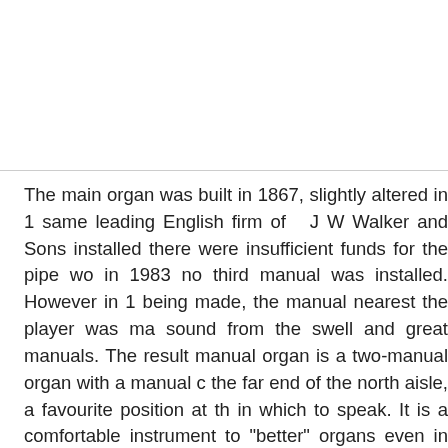The main organ was built in 1867, slightly altered in 1 same leading English firm of  J W Walker and Sons installed there were insufficient funds for the pipe wo in 1983 no third manual was installed. However in 1 being made, the manual nearest the player was ma sound from the swell and great manuals. The result manual organ is a two-manual organ with a manual c the far end of the north aisle, a favourite position at th in which to speak. It is a comfortable instrument to "better" organs even in the near-vicinity.  However with many really beautiful stops is difficult for the pla